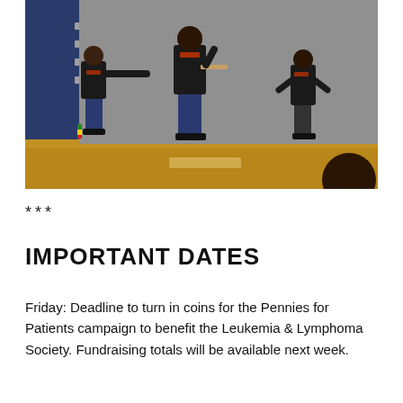[Figure (photo): Three people wearing black t-shirts on a gymnasium stage with bleachers in the background. The center person appears to be speaking or presenting while holding something. The two flanking individuals stand to either side.]
***
IMPORTANT DATES
Friday: Deadline to turn in coins for the Pennies for Patients campaign to benefit the Leukemia & Lymphoma Society. Fundraising totals will be available next week.